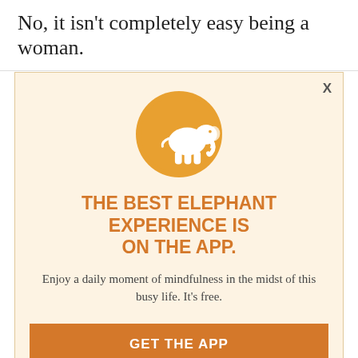No, it isn't completely easy being a woman.
[Figure (illustration): Elephant Journal app promotional modal overlay on article background. Contains orange circle logo with white elephant, headline text, descriptive text, and two call-to-action buttons.]
THE BEST ELEPHANT EXPERIENCE IS ON THE APP.
Enjoy a daily moment of mindfulness in the midst of this busy life. It's free.
GET THE APP
OPEN IN APP